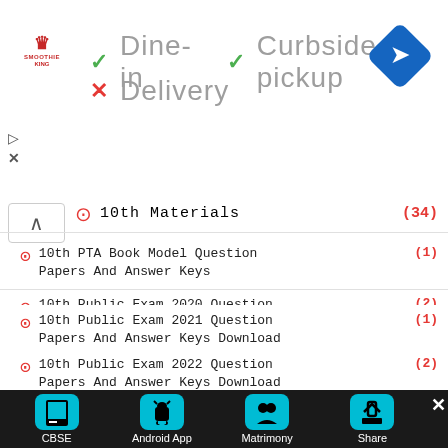[Figure (screenshot): Ad banner for Smoothie King showing dine-in, curbside pickup available (green checkmarks), and delivery not available (red X)]
10th Materials (34)
10th PTA Book Model Question Papers And Answer Keys (1)
10th Public Exam 2020 Question Papers And Answer Keys Download (2)
10th Public Exam 2021 Question Papers And Answer Keys Download (1)
10th Public Exam 2022 Question Papers And Answer Keys Download (2)
[Figure (screenshot): Bottom navigation toolbar with CBSE, Android App, Matrimony, Share buttons and a close X button]